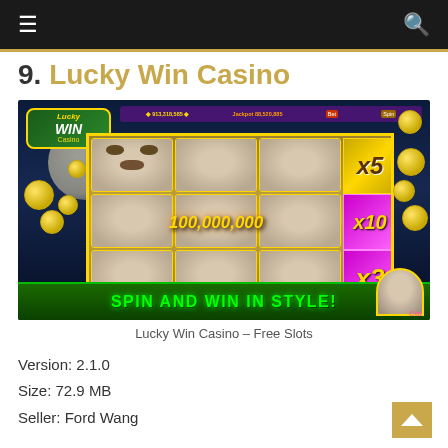Navigation header with menu and search icons
9. Lucky Win Casino
[Figure (screenshot): Lucky Win Casino slot machine game screenshot showing cat symbols, multipliers x5, x10, x3, a big win of 100,000,000 coins, and a green banner reading SPIN AND WIN IN STYLE!]
Lucky Win Casino – Free Slots
Version: 2.1.0
Size: 72.9 MB
Seller: Ford Wang